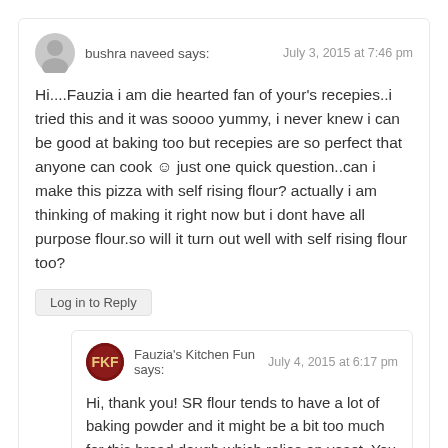bushra naveed says:
July 3, 2015 at 7:46 pm
Hi....Fauzia i am die hearted fan of your's recepies..i tried this and it was soooo yummy, i never knew i can be good at baking too but recepies are so perfect that anyone can cook ☺ just one quick question..can i make this pizza with self rising flour? actually i am thinking of making it right now but i dont have all purpose flour.so will it turn out well with self rising flour too?
Log in to Reply
Fauzia's Kitchen Fun says:
July 4, 2015 at 6:17 pm
Hi, thank you! SR flour tends to have a lot of baking powder and it might be a bit too much for this bread dough which relies on yeast. You could try although am not certain that the results will be as good as with all purpose flour.